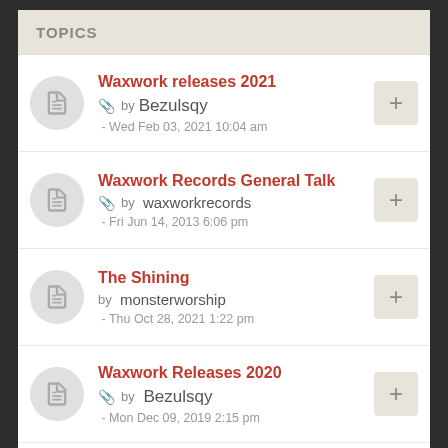TOPICS
Waxwork releases 2021 by Bezulsqy - Wed Feb 03, 2021 10:04 am
Waxwork Records General Talk by waxworkrecords - Fri Jun 14, 2013 6:06 pm
The Shining by monsterworship - Thu Oct 28, 2021 1:22 pm
Waxwork Releases 2020 by Bezulsqy - Mon Dec 09, 2019 2:15 pm
Waxwork 2019 Subscription by Mateo Sanboval - Fri Nov 30, 2018 6:19 pm
Argento/Goblin Reissue...